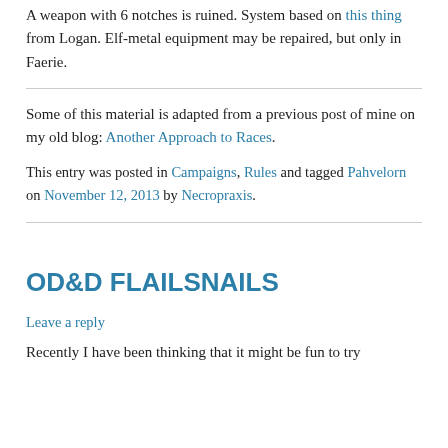A weapon with 6 notches is ruined. System based on this thing from Logan. Elf-metal equipment may be repaired, but only in Faerie.
Some of this material is adapted from a previous post of mine on my old blog: Another Approach to Races.
This entry was posted in Campaigns, Rules and tagged Pahvelorn on November 12, 2013 by Necropraxis.
OD&D FLAILSNAILS
Leave a reply
Recently I have been thinking that it might be fun to try